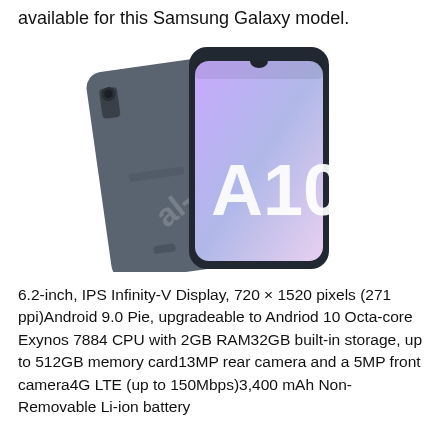available for this Samsung Galaxy model.
[Figure (photo): Samsung Galaxy A10 smartphone shown from two angles: the back (grey) and the front displaying the A10 branding on screen with a gradient purple/pink display.]
6.2-inch, IPS Infinity-V Display, 720 × 1520 pixels (271 ppi)Android 9.0 Pie, upgradeable to Andriod 10 Octa-core Exynos 7884 CPU with 2GB RAM32GB built-in storage, up to 512GB memory card13MP rear camera and a 5MP front camera4G LTE (up to 150Mbps)3,400 mAh Non-Removable Li-ion battery